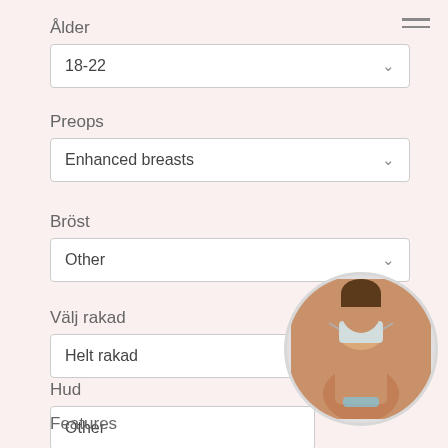Ålder
18-22
Preops
Enhanced breasts
Bröst
Other
Välj rakad
Helt rakad
Hud
Other
Features
[Figure (photo): Circular photo of a woman holding a medical mask, partially unclothed, cropped circular frame in bottom-right corner]